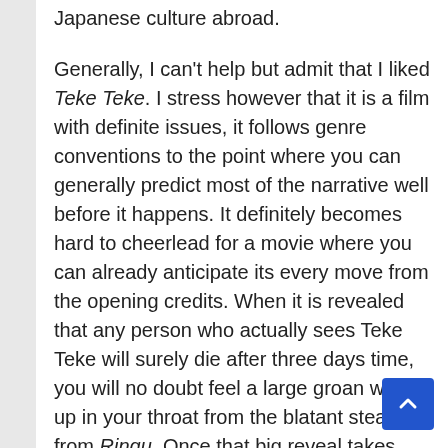Japanese culture abroad.
Generally, I can't help but admit that I liked Teke Teke. I stress however that it is a film with definite issues, it follows genre conventions to the point where you can generally predict most of the narrative well before it happens. It definitely becomes hard to cheerlead for a movie where you can already anticipate its every move from the opening credits. When it is revealed that any person who actually sees Teke Teke will surely die after three days time, you will no doubt feel a large groan well up in your throat from the blatant stealing from Ringu. Once that big reveal takes place, the movie follows in the same generic fashion that